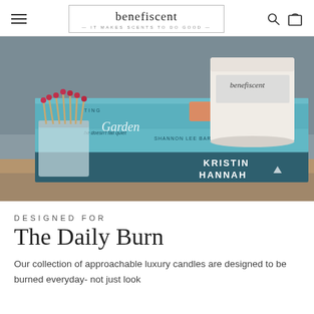benefiscent — IT MAKES SCENTS TO DO GOOD —
[Figure (photo): Photo of a white benefiscent-branded candle sitting on a stack of blue and dark teal books, with a glass jar of red-tipped wooden matches in the foreground on a wood surface. Books visible include one by Kristin Hannah.]
DESIGNED FOR
The Daily Burn
Our collection of approachable luxury candles are designed to be burned everyday- not just look